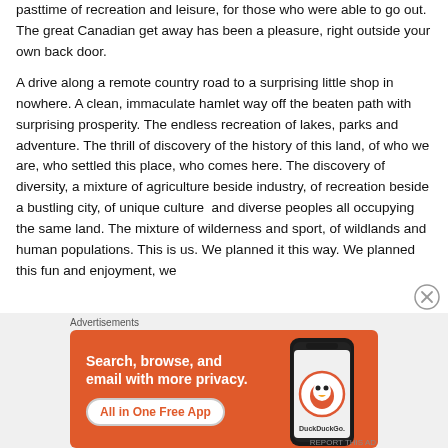pasttime of recreation and leisure, for those who were able to go out.  The great Canadian get away has been a pleasure, right outside your own back door.
A drive along a remote country road to a surprising little shop in nowhere.  A clean, immaculate hamlet way off the beaten path with surprising prosperity.  The endless recreation of lakes, parks and adventure.  The thrill of discovery of the history of this land, of who we are, who settled this place, who comes here.  The discovery of diversity, a mixture of agriculture beside industry, of recreation beside a bustling city, of unique culture  and diverse peoples all occupying the same land. The mixture of wilderness and sport, of wildlands and human populations.  This is us.  We planned it this way.  We planned this fun and enjoyment, we
Advertisements
[Figure (infographic): DuckDuckGo advertisement banner with orange background. Left side has white bold text: 'Search, browse, and email with more privacy.' with a white button 'All in One Free App'. Right side shows a smartphone with DuckDuckGo logo and brand name.]